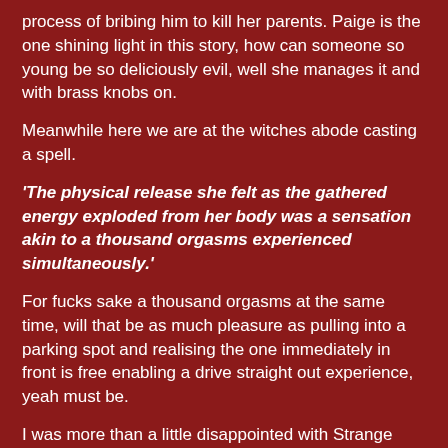process of bribing him to kill her parents. Paige is the one shining light in this story, how can someone so young be so deliciously evil, well she manages it and with brass knobs on.
Meanwhile here we are at the witches abode casting a spell.
'The physical release she felt as the gathered energy exploded from her body was a sensation akin to a thousand orgasms experienced simultaneously.'
For fucks sake a thousand orgasms at the same time, will that be as much pleasure as pulling into a parking spot and realising the one immediately in front is free enabling a drive straight out experience, yeah must be.
I was more than a little disappointed with Strange Ways, the Bryan Smith magic was lacking, the whole affair was a bit predictable and there was the hint of a familiar pattern there.
Also posted at http://paulnelson.booklikes.com/post/...